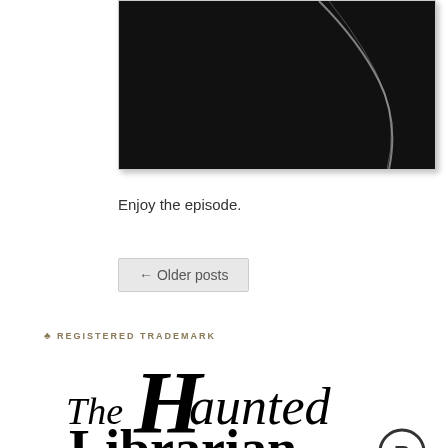[Figure (photo): Dark/black photographic image cropped at top, showing a faint curved white line or shape against a black background]
Enjoy the episode.
← Older posts
♣ REGISTERED TRADEMARK
[Figure (logo): The Haunted Librarian logo in large decorative serif/script typography with a registered trademark R symbol in a circle]